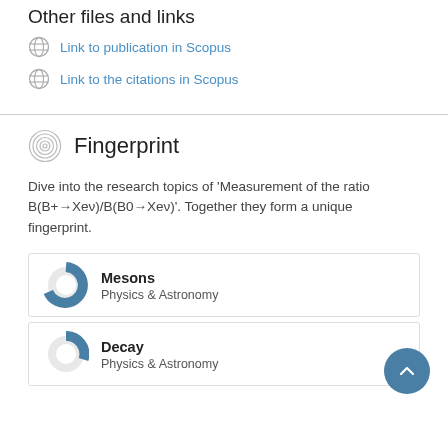Other files and links
Link to publication in Scopus
Link to the citations in Scopus
Fingerprint
Dive into the research topics of 'Measurement of the ratio B(B+→Xeν)/B(B0→Xeν)'. Together they form a unique fingerprint.
Mesons
Physics & Astronomy
Decay
Physics & Astronomy